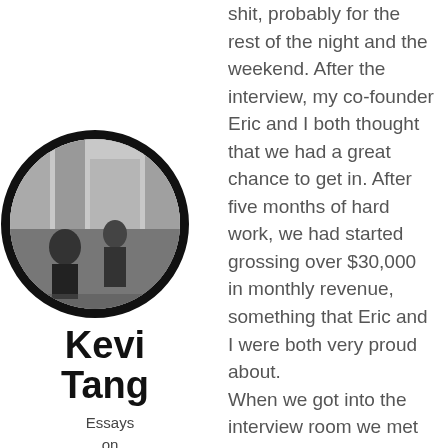[Figure (photo): Circular avatar photo of Kevin Tang, showing a person outdoors on a street]
Kevin Tang
Essays on Startups, Growth Hacking, Entrepre and Random Stuff
shit, probably for the rest of the night and the weekend. After the interview, my co-founder Eric and I both thought that we had a great chance to get in. After five months of hard work, we had started grossing over $30,000 in monthly revenue, something that Eric and I were both very proud about.
When we got into the interview room we met our interviewers, Sam Altman, Garry Tan, and Paul Bucheit. It turns out, Sam Altman and Garry Tan were both photographers, so we thought, wow, we lucked out. They must understand how f*cking huge this market is. Paul Bucheit looked like he didn't care, but whatever, Garry Tan and Sam Altman seemed enthused about what we were doing.